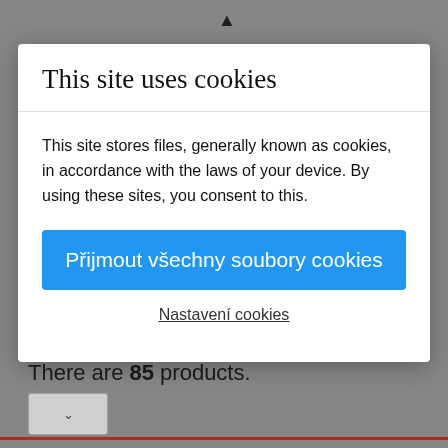[Figure (screenshot): Gray background webpage showing cookie consent modal dialog overlay. Below the modal: 'There are 85 products.' text, pagination controls with buttons 2, 3, ..., 8, a dropdown, footer red bar, and four red icon buttons including EN language selector.]
This site uses cookies
This site stores files, generally known as cookies, in accordance with the laws of your device. By using these sites, you consent to this.
Přijmout všechny soubory cookies
Nastavení cookies
There are 85 products.